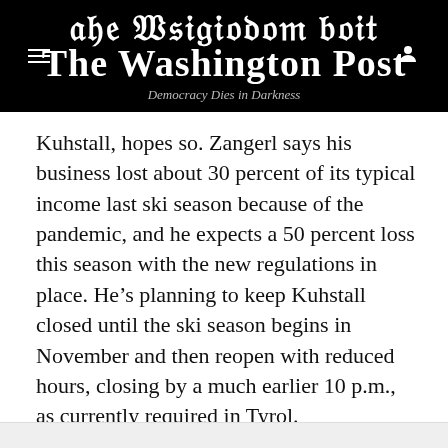The Washington Post — Democracy Dies in Darkness
Kuhstall, hopes so. Zangerl says his business lost about 30 percent of its typical income last ski season because of the pandemic, and he expects a 50 percent loss this season with the new regulations in place. He’s planning to keep Kuhstall closed until the ski season begins in November and then reopen with reduced hours, closing by a much earlier 10 p.m., as currently required in Tyrol.